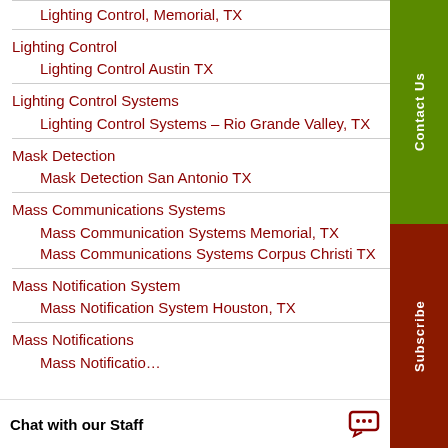Lighting Control, Memorial, TX
Lighting Control
  Lighting Control Austin TX
Lighting Control Systems
  Lighting Control Systems – Rio Grande Valley, TX
Mask Detection
  Mask Detection San Antonio TX
Mass Communications Systems
  Mass Communication Systems Memorial, TX
  Mass Communications Systems Corpus Christi TX
Mass Notification System
  Mass Notification System Houston, TX
Mass Notifications
  Mass Notificatio…
Chat with our Staff